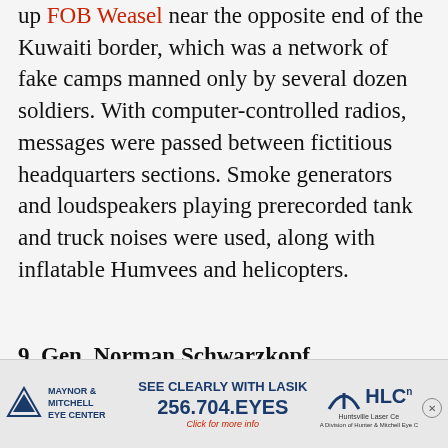up FOB Weasel near the opposite end of the Kuwaiti border, which was a network of fake camps manned only by several dozen soldiers. With computer-controlled radios, messages were passed between fictitious headquarters sections. Smoke generators and loudspeakers playing prerecorded tank and truck noises were used, along with inflatable Humvees and helicopters.
9. Gen. Norman Schwarzkopf commanded a force larger and more
[Figure (other): Advertisement banner for Huntsville Laser Ce (HLC) eye center. Shows Maynor & Mitchell Eye Center logo with triangles, text 'SEE CLEARLY WITH LASIK', phone number '256.704.EYES', 'Click for more info', and HLC logo with tagline 'A Division of Hunter & Mitchell Eye C'. Has a close (X) button.]